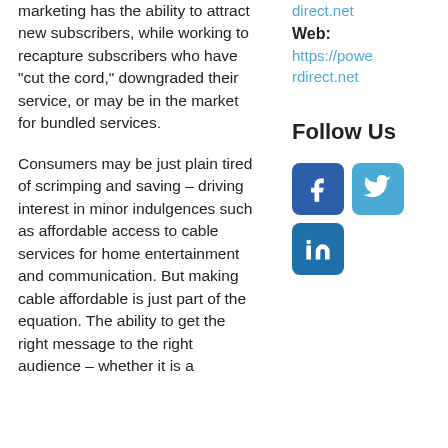marketing has the ability to attract new subscribers, while working to recapture subscribers who have “cut the cord,” downgraded their service, or may be in the market for bundled services.
Consumers may be just plain tired of scrimping and saving – driving interest in minor indulgences such as affordable access to cable services for home entertainment and communication. But making cable affordable is just part of the equation. The ability to get the right message to the right audience – whether it is a
direct.net
Web:
https://powerdirect.net
Follow Us
[Figure (other): Facebook, Twitter, and LinkedIn social media icons]